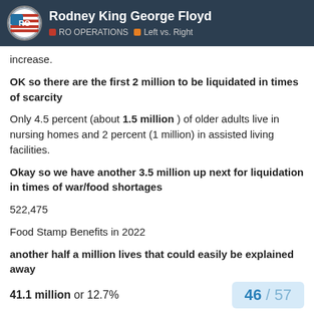Rodney King George Floyd | RO OPERATIONS | Left vs. Right
increase.
OK so there are the first 2 million to be liquidated in times of scarcity
Only 4.5 percent (about 1.5 million ) of older adults live in nursing homes and 2 percent (1 million) in assisted living facilities.
Okay so we have another 3.5 million up next for liquidation in times of war/food shortages
522,475
Food Stamp Benefits in 2022
another half a million lives that could easily be explained away
41.1 million or 12.7%
46 / 57